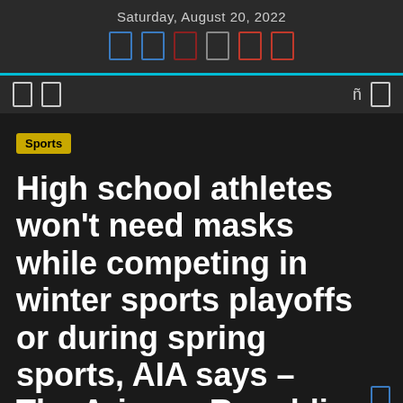Saturday, August 20, 2022
High school athletes won't need masks while competing in winter sports playoffs or during spring sports, AIA says – The Arizona Republic
Sports